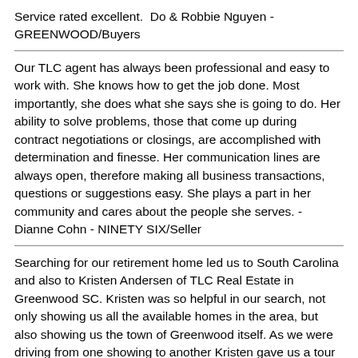Service rated excellent.  Do & Robbie Nguyen - GREENWOOD/Buyers
Our TLC agent has always been professional and easy to work with. She knows how to get the job done. Most importantly, she does what she says she is going to do. Her ability to solve problems, those that come up during contract negotiations or closings, are accomplished with determination and finesse. Her communication lines are always open, therefore making all business transactions, questions or suggestions easy. She plays a part in her community and cares about the people she serves. - Dianne Cohn - NINETY SIX/Seller
Searching for our retirement home led us to South Carolina and also to Kristen Andersen of TLC Real Estate in Greenwood SC. Kristen was so helpful in our search, not only showing us all the available homes in the area, but also showing us the town of Greenwood itself. As we were driving from one showing to another Kristen gave us a tour of the area, including points of interest, local shops, restaurants, medical facilities, schools and more. It took only a few days to find the home we fell in love with and by that time we felt like we had very good knowledge of the area. Kristen is